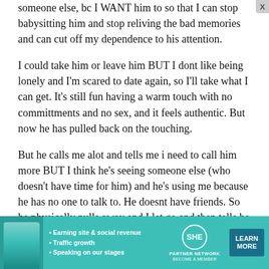someone else, bc I WANT him to so that I can stop babysitting him and stop reliving the bad memories and can cut off my dependence to his attention.
I could take him or leave him BUT I dont like being lonely and I'm scared to date again, so I'll take what I can get. It's still fun having a warm touch with no committments and no sex, and it feels authentic. But now he has pulled back on the touching.
But he calls me alot and tells me i need to call him more BUT I think he's seeing someone else (who doesn't have time for him) and he's using me because he has no one to talk to. He doesnt have friends. So he physically pulls away and I let go and then tells he me I should call him more (close the gap), which I don't but nothings changed.
I said he could kiss the door...
[Figure (infographic): SHE Media Partner Network advertisement banner with teal background, woman photo on left, bullet points for Earning site & social revenue, Traffic growth, Speaking on our stages, SHE logo in circle, PARTNER NETWORK text, BECOME A MEMBER text, and LEARN MORE button in dark blue.]